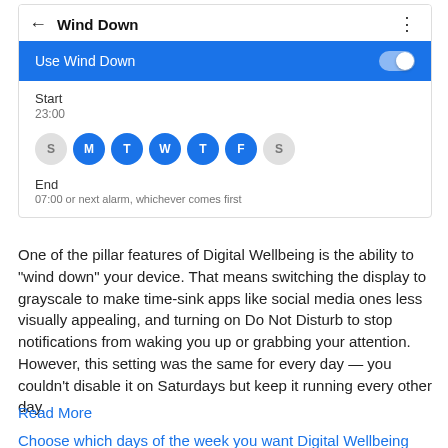[Figure (screenshot): Android Wind Down settings screen showing 'Use Wind Down' toggle enabled (blue), Start time 23:00, day circles S(inactive) M T W T F (active/blue) S(inactive), End time 07:00 or next alarm whichever comes first]
One of the pillar features of Digital Wellbeing is the ability to "wind down" your device. That means switching the display to grayscale to make time-sink apps like social media ones less visually appealing, and turning on Do Not Disturb to stop notifications from waking you up or grabbing your attention. However, this setting was the same for every day — you couldn't disable it on Saturdays but keep it running every other day.
Read More
Choose which days of the week you want Digital Wellbeing